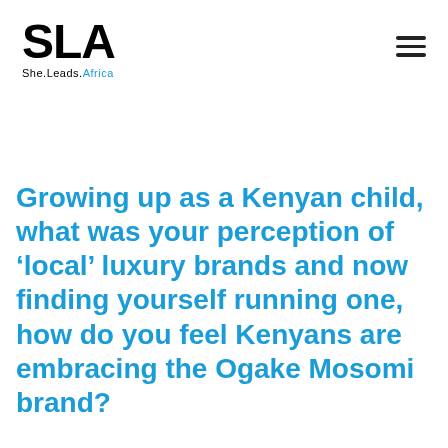SLA She.Leads.Africa
Growing up as a Kenyan child, what was your perception of ‘local’ luxury brands and now finding yourself running one, how do you feel Kenyans are embracing the Ogake Mosomi brand?